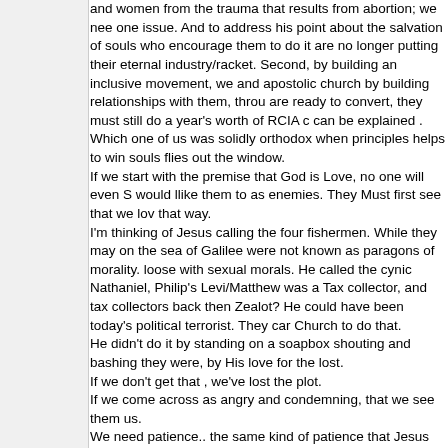and women from the trauma that results from abortion; we nee one issue. And to address his point about the salvation of souls who encourage them to do it are no longer putting their eternal industry/racket. Second, by building an inclusive movement, we and apostolic church by building relationships with them, throu are ready to convert, they must still do a year's worth of RCIA c can be explained . Which one of us was solidly orthodox when principles helps to win souls flies out the window. If we start with the premise that God is Love, no one will even S would llike them to as enemies. They Must first see that we lov that way. I'm thinking of Jesus calling the four fishermen. While they may on the sea of Galilee were not known as paragons of morality. loose with sexual morals. He called the cynic Nathaniel, Philip's Levi/Matthew was a Tax collector, and tax collectors back then Zealot? He could have been today's political terrorist. They car Church to do that. He didn't do it by standing on a soapbox shouting and bashing they were, by His love for the lost. If we don't get that , we've lost the plot. If we come across as angry and condemning, that we see them us. We need patience.. the same kind of patience that Jesus show again in the confessional? And yet He keeps doing it. and so m I know we like to sound all righteous , like we have it all togethe reconciliation, or , for that matter a year of Divine Mercy. In fact hearts change , and the church start to grow!